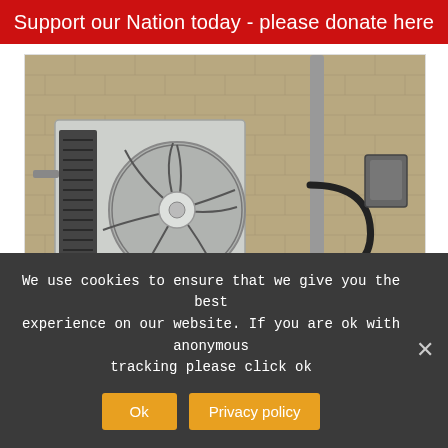Support our Nation today - please donate here
[Figure (photo): Outdoor ductless mini-split AC unit mounted on a brick wall with conduit and electrical box]
Ductless AC Units Have Americans
We use cookies to ensure that we give you the best experience on our website. If you are ok with anonymous tracking please click ok
Ok
Privacy policy